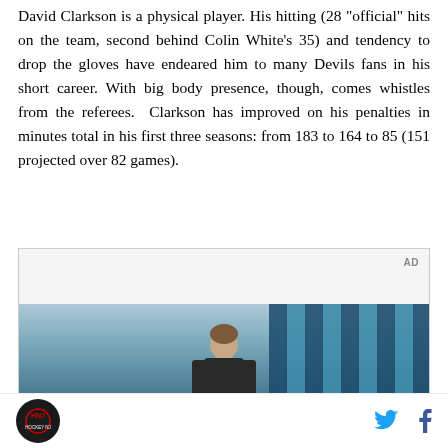David Clarkson is a physical player. His hitting (28 "official" hits on the team, second behind Colin White's 35) and tendency to drop the gloves have endeared him to many Devils fans in his short career. With big body presence, though, comes whistles from the referees. Clarkson has improved on his penalties in minutes total in his first three seasons: from 183 to 164 to 85 (151 projected over 82 games).
[Figure (photo): Advertisement area with AD label in top right corner. Contains a photo of a young person standing in what appears to be an indoor facility with large windows in the background.]
Hockey NJ logo | Twitter icon | Facebook icon